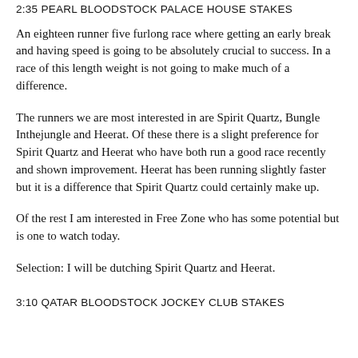2:35 PEARL BLOODSTOCK PALACE HOUSE STAKES
An eighteen runner five furlong race where getting an early break and having speed is going to be absolutely crucial to success. In a race of this length weight is not going to make much of a difference.
The runners we are most interested in are Spirit Quartz, Bungle Inthejungle and Heerat. Of these there is a slight preference for Spirit Quartz and Heerat who have both run a good race recently and shown improvement. Heerat has been running slightly faster but it is a difference that Spirit Quartz could certainly make up.
Of the rest I am interested in Free Zone who has some potential but is one to watch today.
Selection: I will be dutching Spirit Quartz and Heerat.
3:10 QATAR BLOODSTOCK JOCKEY CLUB STAKES